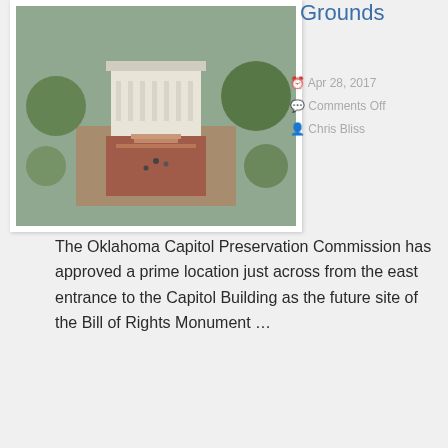[Figure (photo): Aerial photograph of the Oklahoma State Capitol Building showing the building's dome and surrounding grounds with red brick plaza and green trees]
Grounds
Apr 28, 2017
Comments Off
Chris Bliss
The Oklahoma Capitol Preservation Commission has approved a prime location just across from the east entrance to the Capitol Building as the future site of the Bill of Rights Monument …
Continue Reading
[Figure (photo): Photograph of a large abstract white marble sculpture outdoors with trees in the background]
America's First Monument